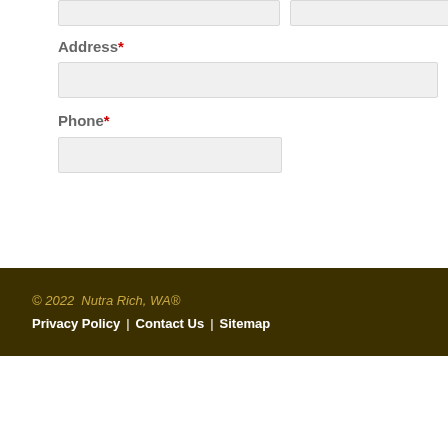Address*
Phone*
© 2022  Nutra Rich, WA®  |  Privacy Policy  |  Contact Us  |  Sitemap